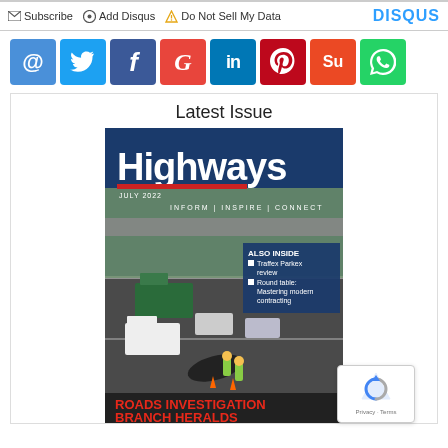Subscribe  Add Disqus  Do Not Sell My Data  DISQUS
[Figure (infographic): Row of social media share icons: email (@), Twitter, Facebook, Google, LinkedIn, Pinterest, StumbleUpon, WhatsApp]
Latest Issue
[Figure (photo): Cover of Highways magazine, July 2022. Shows highway accident scene with overturned vehicle, emergency workers, and traffic. Text: 'Highways', 'JULY 2022', 'INFORM | INSPIRE | CONNECT', 'ALSO INSIDE: Traffex Parkex review, Round table: Mastering modern contracting', 'ROADS INVESTIGATION BRANCH HERALDS']
[Figure (other): reCAPTCHA badge with Google logo, Privacy and Terms links]